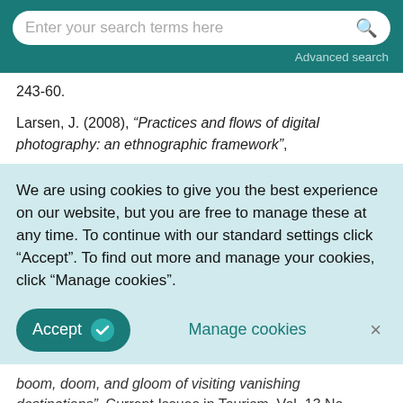Enter your search terms here | Advanced search
243-60.
Larsen, J. (2008), “Practices and flows of digital photography: an ethnographic framework”,
We are using cookies to give you the best experience on our website, but you are free to manage these at any time. To continue with our standard settings click "Accept". To find out more and manage your cookies, click "Manage cookies".
Accept | Manage cookies | ×
boom, doom, and gloom of visiting vanishing destinations”, Current Issues in Tourism, Vol. 13 No.